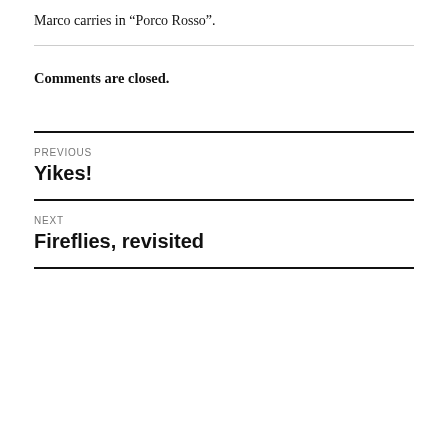Marco carries in “Porco Rosso”.
Comments are closed.
PREVIOUS
Yikes!
NEXT
Fireflies, revisited